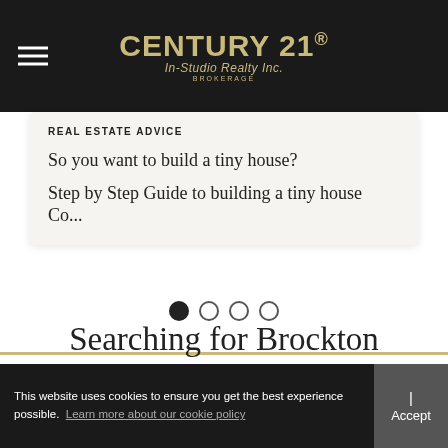CENTURY 21 In-Studio Realty Inc. BROKERAGE
REAL ESTATE ADVICE
So you want to build a tiny house?
Step by Step Guide to building a tiny house Co...
[Figure (other): Carousel pagination dots: one filled dot and three empty circles]
Searching for Brockton Farms or Land?
This website uses cookies to ensure you get the best experience possible.  Learn more about our cookie policy